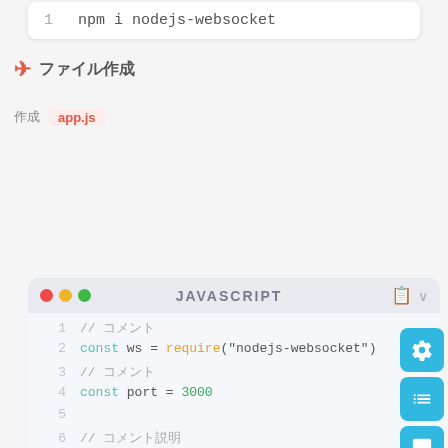[Figure (screenshot): Code snippet box showing: 1  npm i nodejs-websocket]
✈ ファイル作成
作成 app.js
[Figure (screenshot): JavaScript code block showing lines 1-12 with syntax highlighting: require, const, port=3000, createServer, console.log, conn.on]
[Figure (screenshot): Side action buttons: settings, list, chat, up-arrow]